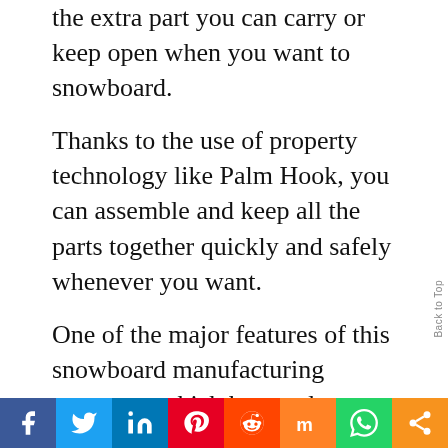the extra part you can carry or keep open when you want to snowboard.
Thanks to the use of property technology like Palm Hook, you can assemble and keep all the parts together quickly and safely whenever you want.
One of the major features of this snowboard manufacturing company, which has made a name for itself in the skateboard industry, is its quality.
Social share bar: Facebook, Twitter, LinkedIn, Pinterest, Reddit, Mix, WhatsApp, Share